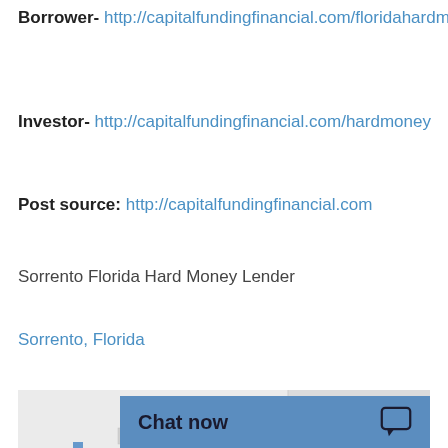Borrower- http://capitalfundingfinancial.com/floridahardmoneyloan
Investor- http://capitalfundingfinancial.com/hardmoney
Post source: http://capitalfundingfinancial.com
Sorrento Florida Hard Money Lender
Sorrento, Florida
[Figure (map): Map showing Sorrento, Florida area with Wolf Branch Rd, East Lake Sports Community Complex visible]
Chat now